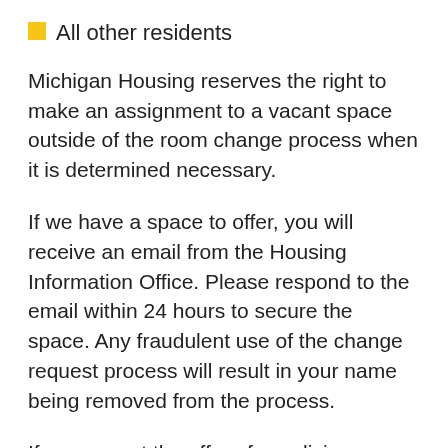All other residents
Michigan Housing reserves the right to make an assignment to a vacant space outside of the room change process when it is determined necessary.
If we have a space to offer, you will receive an email from the Housing Information Office. Please respond to the email within 24 hours to secure the space. Any fraudulent use of the change request process will result in your name being removed from the process.
If you accept the offer of new living space and you complete the required check out